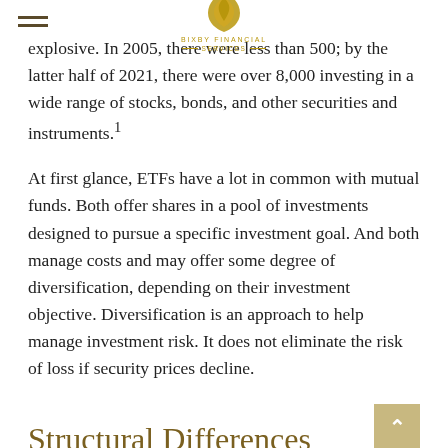Bixby Financial Services
explosive. In 2005, there were less than 500; by the latter half of 2021, there were over 8,000 investing in a wide range of stocks, bonds, and other securities and instruments.¹
At first glance, ETFs have a lot in common with mutual funds. Both offer shares in a pool of investments designed to pursue a specific investment goal. And both manage costs and may offer some degree of diversification, depending on their investment objective. Diversification is an approach to help manage investment risk. It does not eliminate the risk of loss if security prices decline.
Structural Differences
Mutual funds accumulate a pool of money that is then